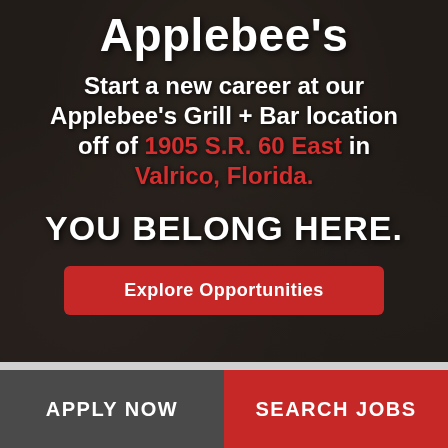[Figure (photo): Dark background photo of restaurant staff/employees at Applebee's location, with dark overlay]
Applebee's
Start a new career at our Applebee's Grill + Bar location off of 1905 S.R. 60 East in Valrico, Florida.
YOU BELONG HERE.
Explore Opportunities
APPLY NOW
SEARCH JOBS